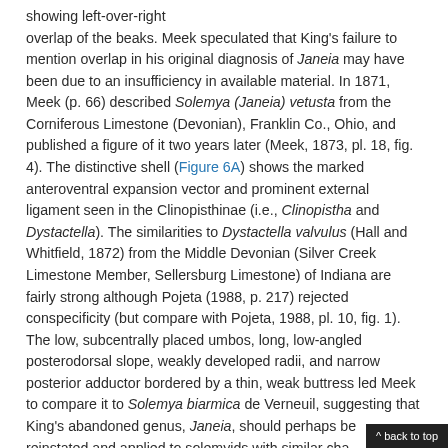showing left-over-right overlap of the beaks. Meek speculated that King's failure to mention overlap in his original diagnosis of Janeia may have been due to an insufficiency in available material. In 1871, Meek (p. 66) described Solemya (Janeia) vetusta from the Corniferous Limestone (Devonian), Franklin Co., Ohio, and published a figure of it two years later (Meek, 1873, pl. 18, fig. 4). The distinctive shell (Figure 6A) shows the marked anteroventral expansion vector and prominent external ligament seen in the Clinopisthinae (i.e., Clinopistha and Dystactella). The similarities to Dystactella valvulus (Hall and Whitfield, 1872) from the Middle Devonian (Silver Creek Limestone Member, Sellersburg Limestone) of Indiana are fairly strong although Pojeta (1988, p. 217) rejected conspecificity (but compare with Pojeta, 1988, pl. 10, fig. 1). The low, subcentrally placed umbos, long, low-angled posterodorsal slope, weakly developed radii, and narrow posterior adductor bordered by a thin, weak buttress led Meek to compare it to Solemya biarmica de Verneuil, suggesting that King's abandoned genus, Janeia, should perhaps be reinstated and applied to solemyids with similar cha...
^ back to top